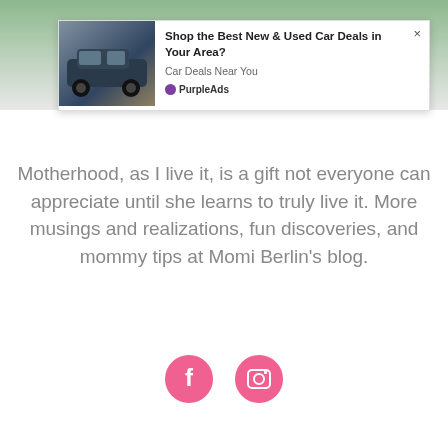[Figure (photo): Top portion showing a profile photo of a person in a white top with green plant background, partially cropped]
[Figure (screenshot): Advertisement overlay: car image on left showing a dark SUV on a road, ad text 'Shop the Best New & Used Car Deals in Your Area?', subtext 'Car Deals Near You', branded by PurpleAds with close button X]
Motherhood, as I live it, is a gift not everyone can appreciate until she learns to truly live it. More musings and realizations, fun discoveries, and mommy tips at Momi Berlin's blog.
[Figure (infographic): Two pink circular social media icons: Facebook (f) and Instagram (camera) icons]